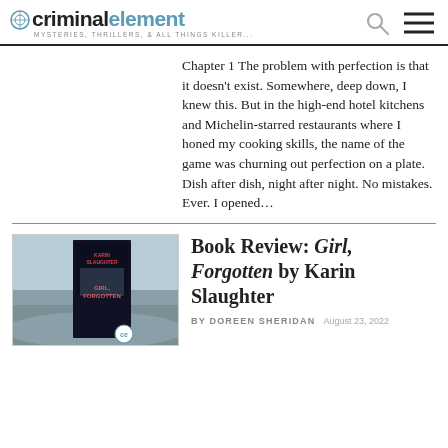criminalelement — MYSTERIES, THRILLERS, & ALL THINGS KILLER...
Chapter 1 The problem with perfection is that it doesn't exist. Somewhere, deep down, I knew this. But in the high-end hotel kitchens and Michelin-starred restaurants where I honed my cooking skills, the name of the game was churning out perfection on a plate. Dish after dish, night after night. No mistakes. Ever. I opened…
[Figure (photo): Book cover of Girl, Forgotten by Karin Slaughter displayed in front of a coastal landscape background]
Book Review: Girl, Forgotten by Karin Slaughter
BY DOREEN SHERIDAN    August 23, 2022